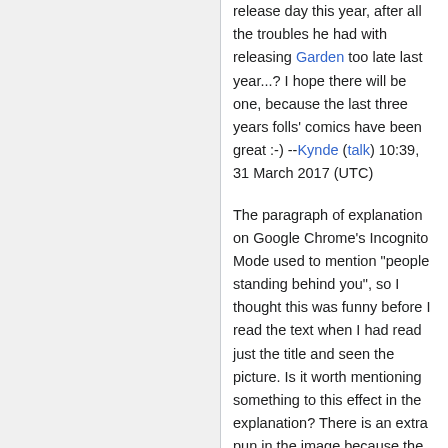release day this year, after all the troubles he had with releasing Garden too late last year...? I hope there will be one, because the last three years folls' comics have been great :-) --Kynde (talk) 10:39, 31 March 2017 (UTC)
The paragraph of explanation on Google Chrome's Incognito Mode used to mention "people standing behind you", so I thought this was funny before I read the text when I had read just the title and seen the picture. Is it worth mentioning something to this effect in the explanation? There is an extra pun in the image because the